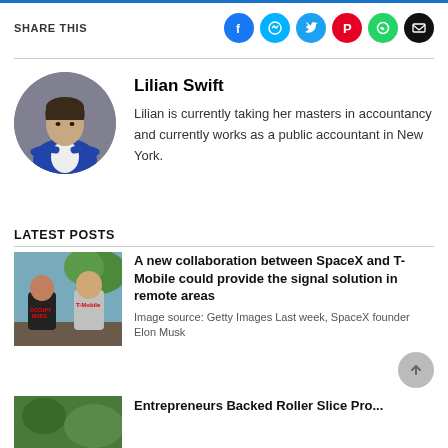SHARE THIS
[Figure (illustration): Circular author headshot of a woman in a blue blazer with arms crossed, on a grey background]
Lilian Swift
Lilian is currently taking her masters in accountancy and currently works as a public accountant in New York.
LATEST POSTS
[Figure (photo): Two men standing outdoors, one wearing an Occupy Mars T-shirt (Elon Musk) and another in a T-Mobile branded outfit]
A new collaboration between SpaceX and T-Mobile could provide the signal solution in remote areas
Image source: Getty Images Last week, SpaceX founder Elon Musk
[Figure (photo): Partial thumbnail of a news article, green/natural background]